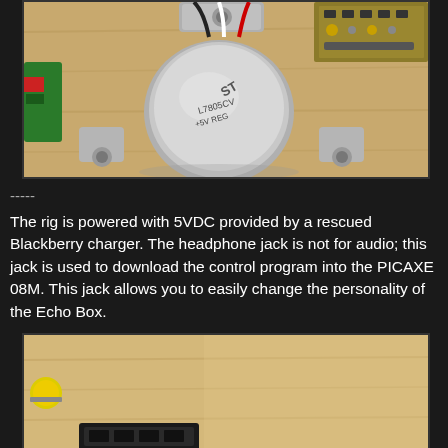[Figure (photo): Close-up photo of an electronic component (TO-220 or similar transistor/voltage regulator) with wires, placed on a wooden surface. A PCB with components is visible in the background upper right.]
-----
The rig is powered with 5VDC provided by a rescued Blackberry charger. The headphone jack is not for audio; this jack is used to download the control program into the PICAXE 08M. This jack allows you to easily change the personality of the Echo Box.
[Figure (photo): Photo of a wooden box/enclosure with a yellow element visible on the left side and a dark connector or component at the bottom.]